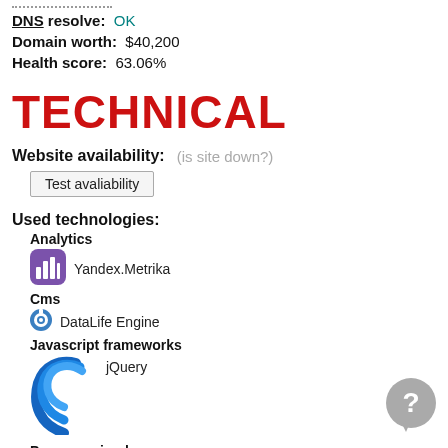DNS resolve: OK
Domain worth: $40,200
Health score: 63.06%
TECHNICAL
Website availability: (is site down?)
Test avaliability
Used technologies:
Analytics
[Figure (logo): Yandex.Metrika purple bar-chart icon]
Yandex.Metrika
Cms
[Figure (logo): DataLife Engine blue circular icon]
DataLife Engine
Javascript frameworks
[Figure (logo): jQuery blue swirl/concentric arcs logo]
jQuery
Programming languages
[Figure (logo): PHP purple badge icon]
PHP (version 5.2.17)